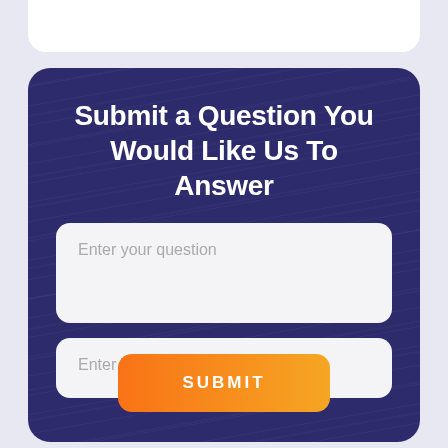Submit a Question You Would Like Us To Answer
Enter your question
Enter Your Email ID
SUBMIT